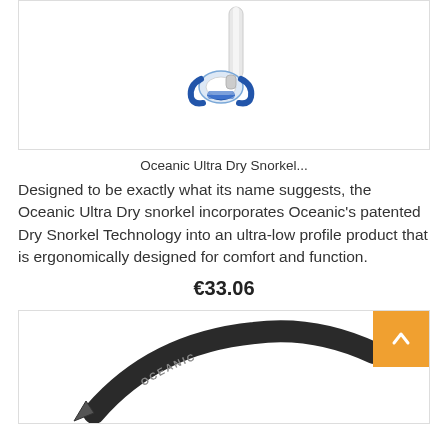[Figure (photo): Product photo of Oceanic Ultra Dry Snorkel - white tube with blue mouthpiece/clip assembly shown at an angle on white background]
Oceanic Ultra Dry Snorkel...
Designed to be exactly what its name suggests, the Oceanic Ultra Dry snorkel incorporates Oceanic's patented Dry Snorkel Technology into an ultra-low profile product that is ergonomically designed for comfort and function.
€33.06
[Figure (photo): Product photo of Oceanic branded snorkel/mask strap - black curved strap with OCEANIC text visible, shown on white background]